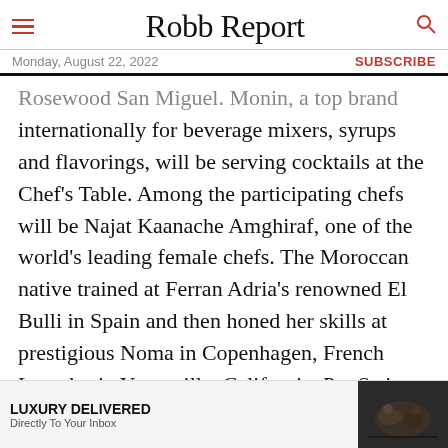Robb Report — Monday, August 22, 2022 — SUBSCRIBE
Rosewood San Miguel. Monin, a top brand internationally for beverage mixers, syrups and flavorings, will be serving cocktails at the Chef's Table. Among the participating chefs will be Najat Kaanache Amghiraf, one of the world's leading female chefs. The Moroccan native trained at Ferran Adria's renowned El Bulli in Spain and then honed her skills at prestigious Noma in Copenhagen, French Laundry in Yountville, California, Per Se in New York City and Alinea in Chicago, working alongside such culinary giants as Rene Redzepi, Thomas Keller,
[Figure (other): Advertisement banner: LUXURY DELIVERED Directly To Your Inbox, with food/drink image on the right]